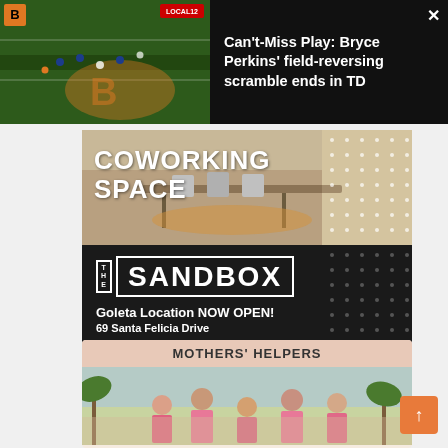[Figure (screenshot): Video thumbnail of NFL football field with Cincinnati Bengals logo visible]
Can't-Miss Play: Bryce Perkins' field-reversing scramble ends in TD
[Figure (photo): Coworking space interior with tables and chairs]
COWORKING SPACE
[Figure (logo): The Sandbox logo with THE in a box and SANDBOX in large letters with border]
Goleta Location NOW OPEN!
69 Santa Felicia Drive
MOTHERS' HELPERS
[Figure (photo): Group photo of women in pink aprons outdoors]